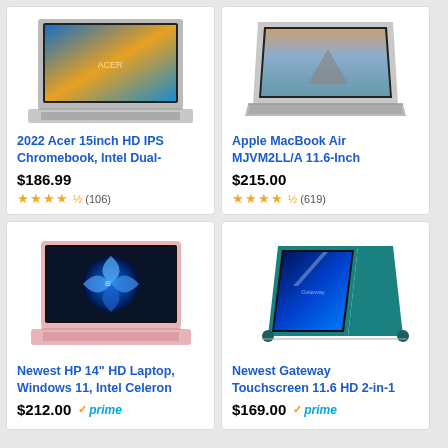[Figure (photo): Acer Chromebook laptop with colorful wallpaper, silver body]
2022 Acer 15inch HD IPS Chromebook, Intel Dual-
$186.99
★★★★½ (106)
[Figure (photo): Apple MacBook Air silver laptop with mountain/lake wallpaper]
Apple MacBook Air MJVM2LL/A 11.6-Inch
$215.00
★★★★½ (619)
[Figure (photo): HP 14 inch laptop in pink/rose gold with Windows 11 screen]
Newest HP 14" HD Laptop, Windows 11, Intel Celeron
$212.00
prime
[Figure (photo): Gateway 11.6 HD 2-in-1 touchscreen laptop in teal/blue tent mode]
Newest Gateway Touchscreen 11.6 HD 2-in-1
$169.00
prime